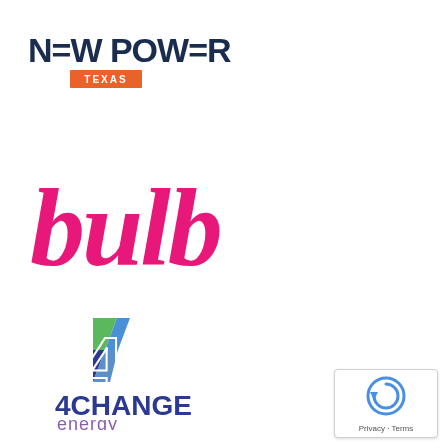[Figure (logo): New Power Texas logo — bold dark navy text 'NEW POWER' with an orange badge below reading 'TEXAS' in white capitals]
[Figure (logo): Bulb energy company logo — the word 'bulb' in a large hot-pink cursive/script font]
[Figure (logo): 4Change Energy logo — a lightning-bolt style numeral 4 icon in green and blue, with '4CHANGE' in bold dark blue and 'energy' in purple beneath]
[Figure (logo): Google reCAPTCHA badge in bottom-right corner with circular arrow icon and 'Privacy · Terms' text]